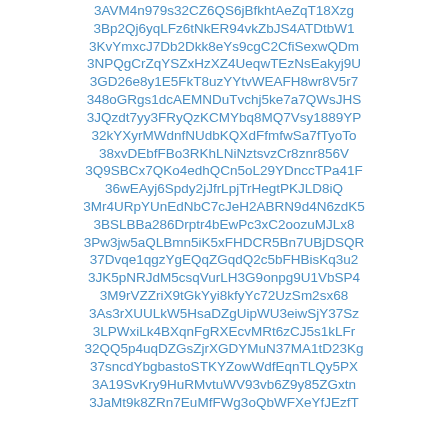3AVM4n979s32CZ6QS6jBfkhtAeZqT18Xzg
3Bp2Qj6yqLFz6tNkER94vkZbJS4ATDtbW1
3KvYmxcJ7Db2Dkk8eYs9cgC2CfiSexwQDm
3NPQgCrZqYSZxHzXZ4UeqwTEzNsEakyj9U
3GD26e8y1E5FkT8uzYYtvWEAFH8wr8V5r7
348oGRgs1dcAEMNDuTvchj5ke7a7QWsJHS
3JQzdt7yy3FRyQzKCMYbq8MQ7Vsy1889YP
32kYXyrMWdnfNUdbKQXdFfmfwSa7fTyoTo
38xvDEbfFBo3RKhLNiNztsvzCr8znr856V
3Q9SBCx7QKo4edhQCn5oL29YDnccTPa41F
36wEAyj6Spdy2jJfrLpjTrHegtPKJLD8iQ
3Mr4URpYUnEdNbC7cJeH2ABRN9d4N6zdK5
3BSLBBa286Drptr4bEwPc3xC2oozuMJLx8
3Pw3jw5aQLBmn5iK5xFHDCR5Bn7UBjDSQR
37Dvqe1qgzYgEQqZGqdQ2c5bFHBisKq3u2
3JK5pNRJdM5csqVurLH3G9onpg9U1VbSP4
3M9rVZZriX9tGkYyi8kfyYc72UzSm2sx68
3As3rXUULkW5HsaDZgUipWU3eiwSjY37Sz
3LPWxiLk4BXqnFgRXEcvMRt6zCJ5s1kLFr
32QQ5p4uqDZGsZjrXGDYMuN37MA1tD23Kg
37sncdYbgbastoSTKYZowWdfEqnTLQy5PX
3A19SvKry9HuRMvtuWV93vb6Z9y85ZGxtn
3JaMt9k8ZRn7EuMfFWg3oQbWFXeYfJEzfT